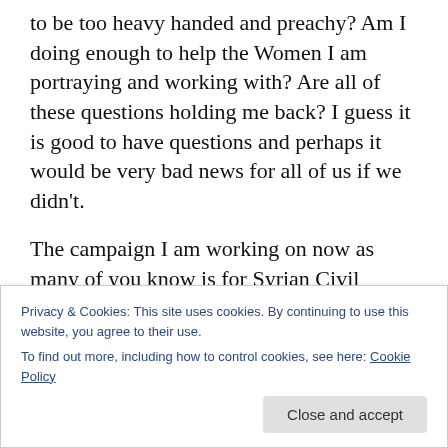to be too heavy handed and preachy? Am I doing enough to help the Women I am portraying and working with? Are all of these questions holding me back? I guess it is good to have questions and perhaps it would be very bad news for all of us if we didn't.
The campaign I am working on now as many of you know is for Syrian Civil Society and Justice Activist Razan Ghazzawi. I came to know of Razan through a Syrian friend Yasser who had worked here at Umass in the STPEC department and is now a Professor at Emerson
Privacy & Cookies: This site uses cookies. By continuing to use this website, you agree to their use.
To find out more, including how to control cookies, see here: Cookie Policy